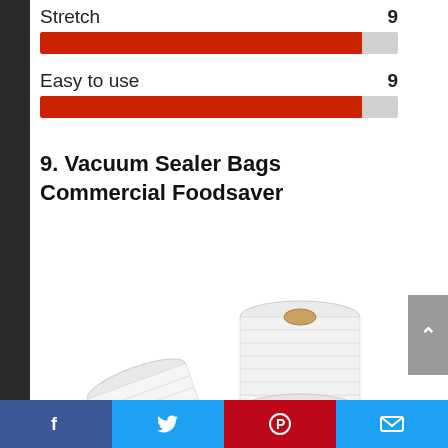[Figure (bar-chart): Stretch rating]
[Figure (bar-chart): Easy to use rating]
9. Vacuum Sealer Bags Commercial Foodsaver
[Figure (photo): Two rolls of vacuum sealer bag rolls, one lying flat and one standing upright, white/clear plastic rolls]
Facebook | Twitter | Pinterest | Email